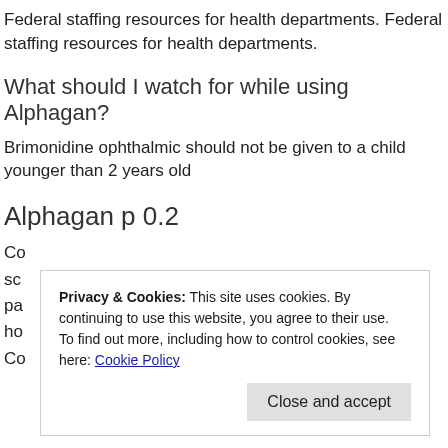Federal staffing resources for health departments. Federal staffing resources for health departments.
What should I watch for while using Alphagan?
Brimonidine ophthalmic should not be given to a child younger than 2 years old
Alphagan p 0.2
Co...ts
sc...
pa...
ho...
Co...
Privacy & Cookies: This site uses cookies. By continuing to use this website, you agree to their use.
To find out more, including how to control cookies, see here: Cookie Policy